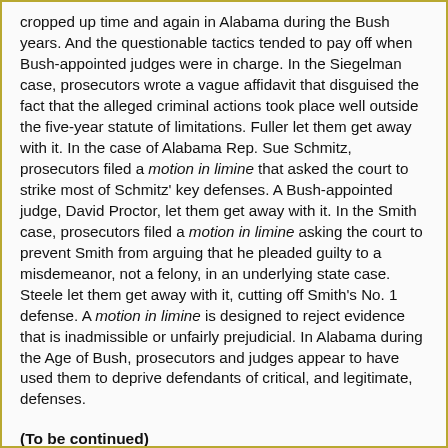cropped up time and again in Alabama during the Bush years. And the questionable tactics tended to pay off when Bush-appointed judges were in charge. In the Siegelman case, prosecutors wrote a vague affidavit that disguised the fact that the alleged criminal actions took place well outside the five-year statute of limitations. Fuller let them get away with it. In the case of Alabama Rep. Sue Schmitz, prosecutors filed a motion in limine that asked the court to strike most of Schmitz' key defenses. A Bush-appointed judge, David Proctor, let them get away with it. In the Smith case, prosecutors filed a motion in limine asking the court to prevent Smith from arguing that he pleaded guilty to a misdemeanor, not a felony, in an underlying state case. Steele let them get away with it, cutting off Smith's No. 1 defense. A motion in limine is designed to reject evidence that is inadmissible or unfairly prejudicial. In Alabama during the Age of Bush, prosecutors and judges appear to have used them to deprive defendants of critical, and legitimate, defenses.
(To be continued)